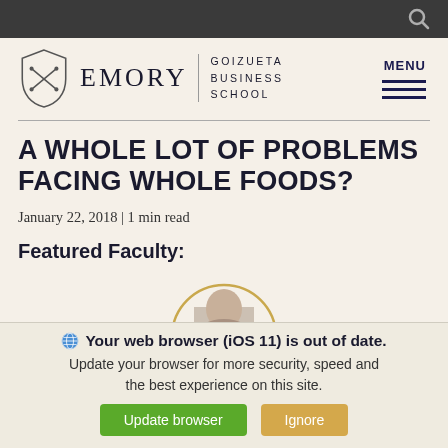Emory | Goizueta Business School
A WHOLE LOT OF PROBLEMS FACING WHOLE FOODS?
January 22, 2018 | 1 min read
Featured Faculty:
[Figure (photo): Circular profile photo of a faculty member, partially visible at bottom]
Your web browser (iOS 11) is out of date. Update your browser for more security, speed and the best experience on this site.